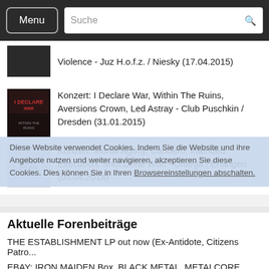Menu | Suche
Violence - Juz H.o.f.z. / Niesky (17.04.2015)
Konzert: I Declare War, Within The Ruins, Aversions Crown, Led Astray - Club Puschkin / Dresden (31.01.2015)
Konzert: Mortal Agony, Candero, Intended Execution, Shot Done Won - Omega / Erlangen (05.04.2014)
Diese Website verwendet Cookies. Indem Sie die Website und ihre Angebote nutzen und weiter navigieren, akzeptieren Sie diese Cookies. Dies können Sie in Ihren Browsereinstellungen abschalten.
Aktuelle Forenbeiträge
THE ESTABLISHMENT LP out now (Ex-Antidote, Citizens Patro...
maz625 am 14.05., 13:29
EBAY: IRON MAIDEN Box, BLACK METAL, METALCORE, deez nuts,...